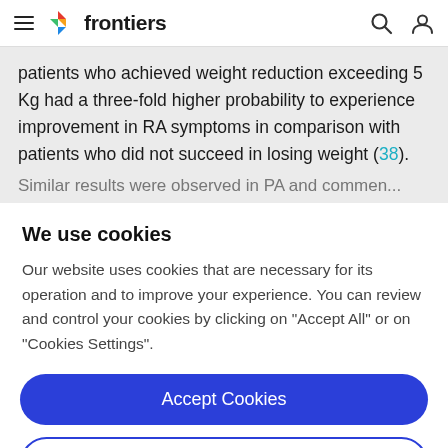frontiers
patients who achieved weight reduction exceeding 5 Kg had a three-fold higher probability to experience improvement in RA symptoms in comparison with patients who did not succeed in losing weight (38).
We use cookies
Our website uses cookies that are necessary for its operation and to improve your experience. You can review and control your cookies by clicking on "Accept All" or on "Cookies Settings".
Accept Cookies
Cookies Settings